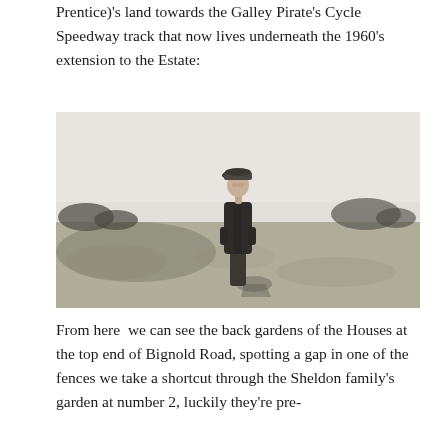Prentice)'s land towards the Galley Pirate's Cycle Speedway track that now lives underneath the 1960's extension to the Estate:
[Figure (photo): Black and white photograph of a man in a long coat and flat cap standing in an open field with scrubby bushes in the background.]
From here  we can see the back gardens of the Houses at the top end of Bignold Road, spotting a gap in one of the fences we take a shortcut through the Sheldon family's garden at number 2, luckily they're pre-